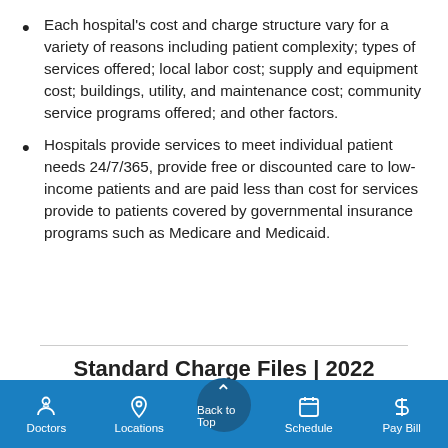Each hospital's cost and charge structure vary for a variety of reasons including patient complexity; types of services offered; local labor cost; supply and equipment cost; buildings, utility, and maintenance cost; community service programs offered; and other factors.
Hospitals provide services to meet individual patient needs 24/7/365, provide free or discounted care to low-income patients and are paid less than cost for services provide to patients covered by governmental insurance programs such as Medicare and Medicaid.
Standard Charge Files | 2022
Karmanos ChargeMAster File | 2022
Doctors | Locations | Back to Top | Schedule | Pay Bill